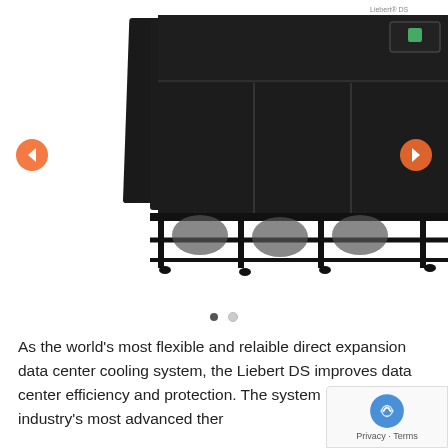[Figure (photo): Product photo of a large black industrial data center cooling unit (Vertiv Liebert DS) with the Vertiv logo in the upper left of the unit. The unit has a boxy dark enclosure with three lower compartments containing cylindrical components visible beneath a metal frame/stand. A display panel is visible top right. Navigation arrows (left and right, orange) flank the image for a carousel slideshow. Two dots below indicate carousel position.]
As the world's most flexible and relaible direct expansion data center cooling system, the Liebert DS improves data center efficiency and protection. The system uses the industry's most advanced ther... control and features unparalleled design, multi...